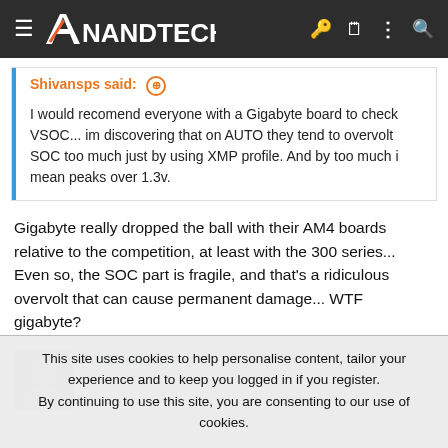AnandTech
Shivansps said: ↑

I would recomend everyone with a Gigabyte board to check VSOC... im discovering that on AUTO they tend to overvolt SOC too much just by using XMP profile. And by too much i mean peaks over 1.3v.
Gigabyte really dropped the ball with their AM4 boards relative to the competition, at least with the 300 series... Even so, the SOC part is fragile, and that's a ridiculous overvolt that can cause permanent damage... WTF gigabyte?
VirtualLarry
No Lifer
This site uses cookies to help personalise content, tailor your experience and to keep you logged in if you register.
By continuing to use this site, you are consenting to our use of cookies.